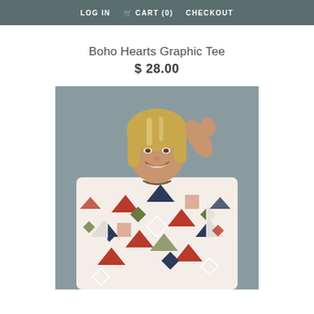LOG IN   CART (0)   CHECKOUT
Boho Hearts Graphic Tee
$ 28.00
[Figure (photo): A smiling young blonde woman wearing a bohemian-style top with colorful Aztec/geometric print in red, navy, green, peach, and white. She is raising one hand to her hair against a grey background.]